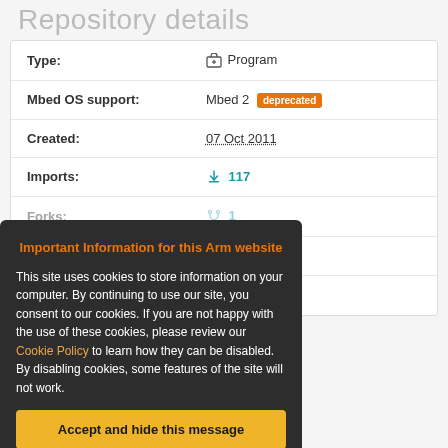Repository details
| Field | Value |
| --- | --- |
| Type: | Program |
| Mbed OS support: | Mbed 2 deprecated |
| Created: | 07 Oct 2011 |
| Imports: | 117 |
| Forks: | 1 |
| Commits: | 2 |
| Dependents: | 0 |
Important Information for this Arm website
This site uses cookies to store information on your computer. By continuing to use our site, you consent to our cookies. If you are not happy with the use of these cookies, please review our Cookie Policy to learn how they can be disabled. By disabling cookies, some features of the site will not work.
Accept and hide this message